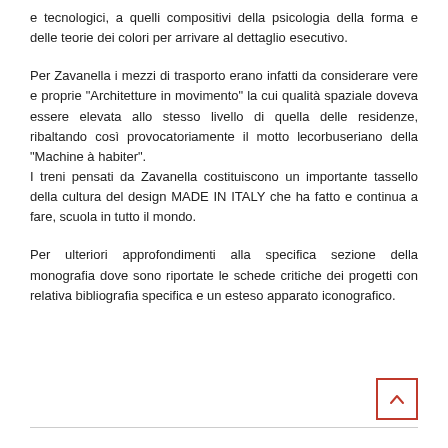e tecnologici, a quelli compositivi della psicologia della forma e delle teorie dei colori per arrivare al dettaglio esecutivo.
Per Zavanella i mezzi di trasporto erano infatti da considerare vere e proprie "Architetture in movimento" la cui qualità spaziale doveva essere elevata allo stesso livello di quella delle residenze, ribaltando così provocatoriamente il motto lecorbuseriano della "Machine à habiter".
I treni pensati da Zavanella costituiscono un importante tassello della cultura del design MADE IN ITALY che ha fatto e continua a fare, scuola in tutto il mondo.
Per ulteriori approfondimenti alla specifica sezione della monografia dove sono riportate le schede critiche dei progetti con relativa bibliografia specifica e un esteso apparato iconografico.